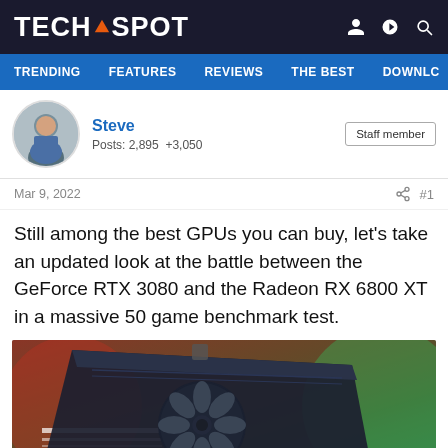TECHSPOT
TRENDING   FEATURES   REVIEWS   THE BEST   DOWNLC
Steve
Posts: 2,895  +3,050
Staff member
Mar 9, 2022   #1
Still among the best GPUs you can buy, let's take an updated look at the battle between the GeForce RTX 3080 and the Radeon RX 6800 XT in a massive 50 game benchmark test.
[Figure (photo): Close-up photo of a graphics card (GPU) with a large fan visible, against a colorful blurred background with red and green lighting.]